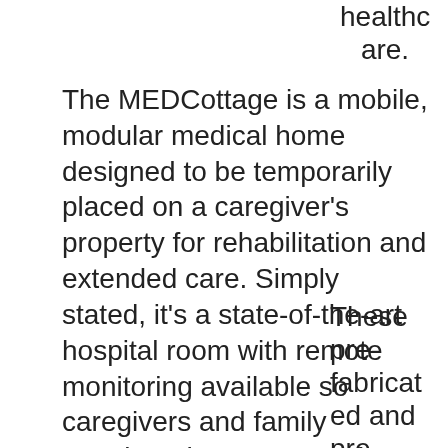healthcare.
The MEDCottage is a mobile, modular medical home designed to be temporarily placed on a caregiver's property for rehabilitation and extended care. Simply stated, it's a state-of-the-art hospital room with remote monitoring available so caregivers and family members have peace of mind knowing they are providing the best possible care.
These pre-fabricated and pre-equipped